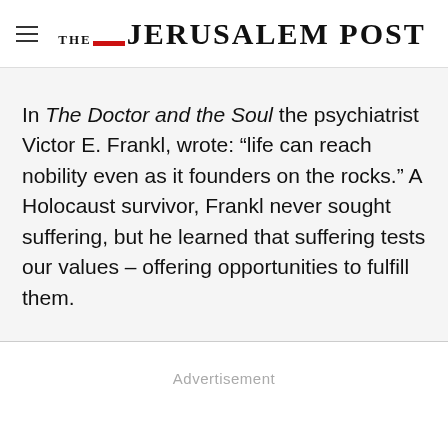THE JERUSALEM POST
In The Doctor and the Soul the psychiatrist Victor E. Frankl, wrote: “life can reach nobility even as it founders on the rocks.” A Holocaust survivor, Frankl never sought suffering, but he learned that suffering tests our values – offering opportunities to fulfill them.
Advertisement